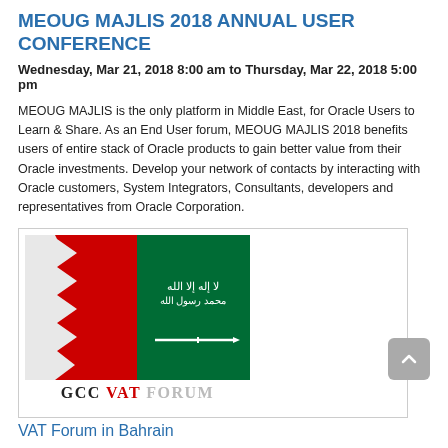MEOUG MAJLIS 2018 ANNUAL USER CONFERENCE
Wednesday, Mar 21, 2018 8:00 am to Thursday, Mar 22, 2018 5:00 pm
MEOUG MAJLIS is the only platform in Middle East, for Oracle Users to Learn & Share. As an End User forum, MEOUG MAJLIS 2018 benefits users of entire stack of Oracle products to gain better value from their Oracle investments. Develop your network of contacts by interacting with Oracle customers, System Integrators, Consultants, developers and representatives from Oracle Corporation.
[Figure (illustration): GCC VAT Forum image showing combined flags of Bahrain and Saudi Arabia with text 'GCC VAT FORUM' below]
VAT Forum in Bahrain